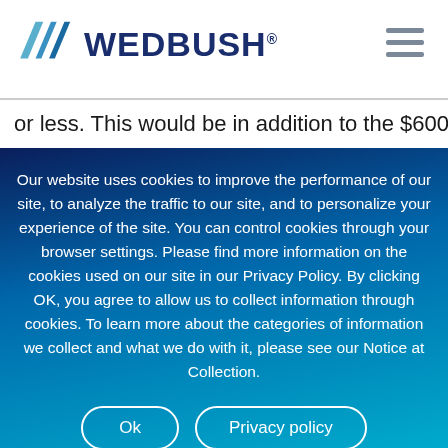[Figure (logo): Wedbush logo with blue parallelogram stripes and dark blue WEDBUSH text with registered trademark symbol]
or less. This would be in addition to the $600 checks
Our website uses cookies to improve the performance of our site, to analyze the traffic to our site, and to personalize your experience of the site. You can control cookies through your browser settings. Please find more information on the cookies used on our site in our Privacy Policy. By clicking OK, you agree to allow us to collect information through cookies. To learn more about the categories of information we collect and what we do with it, please see our Notice at Collection.
Ok
Privacy policy
Notice at Collection